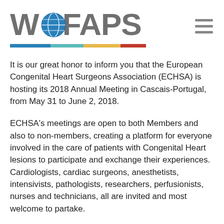[Figure (logo): WOFAPS logo with globe icon replacing the letter O, followed by a multicolor horizontal bar in blue, teal, yellow, and red]
It is our great honor to inform you that the European Congenital Heart Surgeons Association (ECHSA) is hosting its 2018 Annual Meeting in Cascais-Portugal, from May 31 to June 2, 2018.
ECHSA’s meetings are open to both Members and also to non-members, creating a platform for everyone involved in the care of patients with Congenital Heart lesions to participate and exchange their experiences. Cardiologists, cardiac surgeons, anesthetists, intensivists, pathologists, researchers, perfusionists, nurses and technicians, all are invited and most welcome to partake.
The scientific programme will include abstract and video